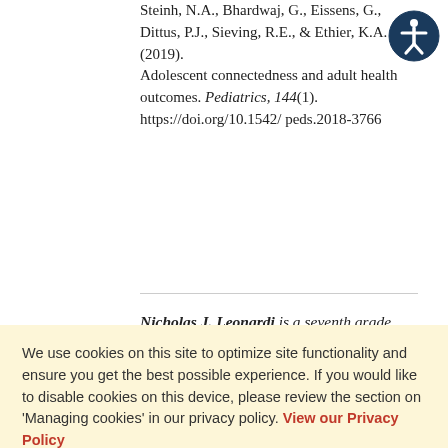Steinh, N.A., Bhardwaj, G., Eissens, G., Dittus, P.J., Sieving, R.E., & Ethier, K.A. (2019). Adolescent connectedness and adult health outcomes. Pediatrics, 144(1). https://doi.org/10.1542/ peds.2018-3766
Nicholas J. Leonardi is a seventh grade science teacher at Mannheim Middle School, Melrose Park, Illinois.
We use cookies on this site to optimize site functionality and ensure you get the best possible experience. If you would like to disable cookies on this device, please review the section on 'Managing cookies' in our privacy policy. View our Privacy Policy